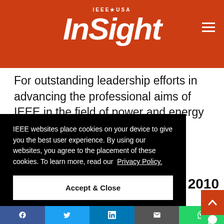IEEE★USA InSight
For outstanding leadership efforts in advancing the professional aims of IEEE in the field of power and energy
IEEE websites place cookies on your device to give you the best user experience. By using our websites, you agree to the placement of these cookies. To learn more, read our Privacy Policy.
Accept & Close
2010